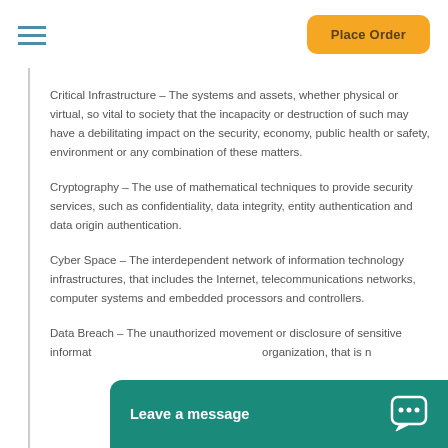Place Order
Critical Infrastructure – The systems and assets, whether physical or virtual, so vital to society that the incapacity or destruction of such may have a debilitating impact on the security, economy, public health or safety, environment or any combination of these matters.
Cryptography – The use of mathematical techniques to provide security services, such as confidentiality, data integrity, entity authentication and data origin authentication.
Cyber Space – The interdependent network of information technology infrastructures, that includes the Internet, telecommunications networks, computer systems and embedded processors and controllers.
Data Breach – The unauthorized movement or disclosure of sensitive information to a party, usually outside the organization, that is not authorized to have or see the information.